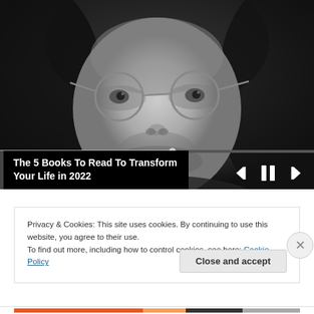[Figure (photo): Black and white close-up photo of a young man with round glasses and long dark hair, looking directly at the camera. Media player controls (skip back, pause, skip forward) visible at bottom right. A progress bar runs along the bottom of the video.]
The 5 Books To Read To Transform Your Life in 2022
Privacy & Cookies: This site uses cookies. By continuing to use this website, you agree to their use.
To find out more, including how to control cookies, see here: Cookie Policy